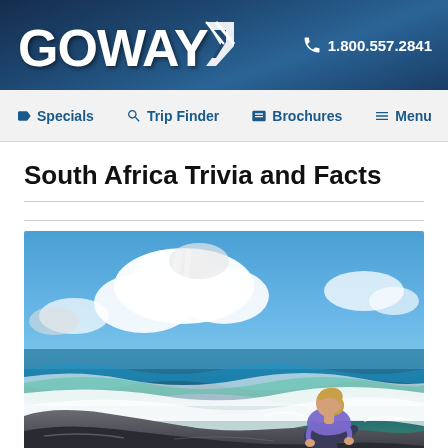GOWAY 1.800.557.2841
Specials  Trip Finder  Brochures  Menu
South Africa Trivia and Facts
[Figure (photo): Person sitting on rocks at a beach, watching ocean waves with dramatic cloudy blue sky in the background]